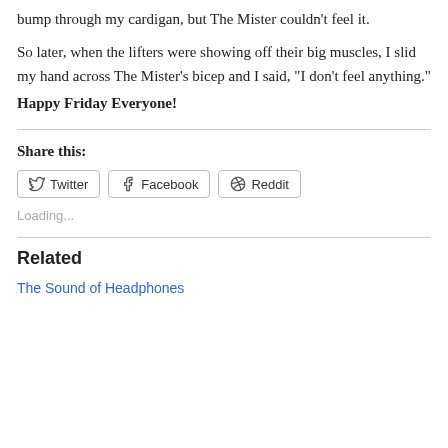bump through my cardigan, but The Mister couldn't feel it.
So later, when the lifters were showing off their big muscles, I slid my hand across The Mister’s bicep and I said, “I don’t feel anything.”
Happy Friday Everyone!
Share this:
Loading...
Related
The Sound of Headphones